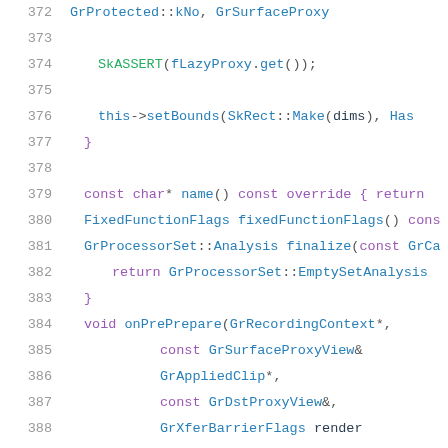[Figure (screenshot): Source code viewer showing C++ code lines 372-392, syntax highlighted with line numbers on the left. Keywords in purple, type names in blue, function names in blue/purple, macros in green.]